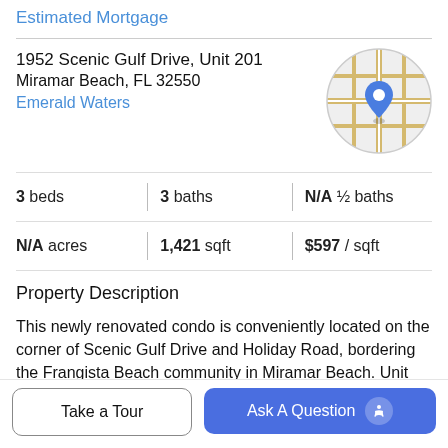Estimated Mortgage
1952 Scenic Gulf Drive, Unit 201
Miramar Beach, FL 32550
Emerald Waters
[Figure (map): Circular map thumbnail with a blue location pin marker showing property location on a street map]
3 beds | 3 baths | N/A ½ baths
N/A acres | 1,421 sqft | $597 / sqft
Property Description
This newly renovated condo is conveniently located on the corner of Scenic Gulf Drive and Holiday Road, bordering the Frangista Beach community in Miramar Beach. Unit 201 in Emerald Waters, a mid-rise Mediterranean styled enclave, has three bedrooms and three full bathrooms. It